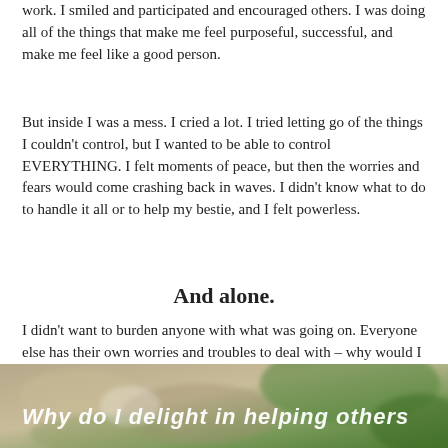work. I smiled and participated and encouraged others. I was doing all of the things that make me feel purposeful, successful, and make me feel like a good person.
But inside I was a mess. I cried a lot. I tried letting go of the things I couldn't control, but I wanted to be able to control EVERYTHING. I felt moments of peace, but then the worries and fears would come crashing back in waves. I didn't know what to do to handle it all or to help my bestie, and I felt powerless.
And alone.
I didn't want to burden anyone with what was going on. Everyone else has their own worries and troubles to deal with – why would I burden them with mine?
[Figure (photo): Photo of natural background (stone and plants) with handwritten white text reading 'Why do I delight in helping others']